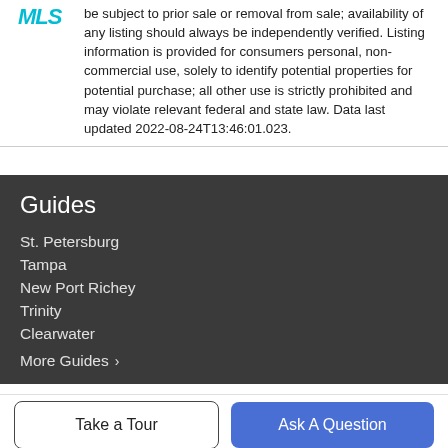be subject to prior sale or removal from sale; availability of any listing should always be independently verified. Listing information is provided for consumers personal, non-commercial use, solely to identify potential properties for potential purchase; all other use is strictly prohibited and may violate relevant federal and state law. Data last updated 2022-08-24T13:46:01.023.
Guides
St. Petersburg
Tampa
New Port Richey
Trinity
Clearwater
More Guides >
Take a Tour | Ask A Question